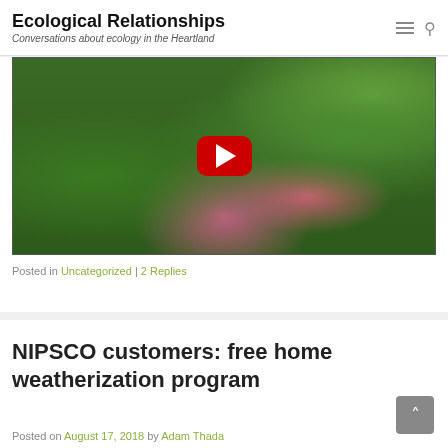Ecological Relationships — Conversations about ecology in the Heartland
[Figure (screenshot): YouTube video thumbnail showing a garden with green plants and pink flowers, with a red YouTube play button overlay]
Posted in Uncategorized | 2 Replies
NIPSCO customers: free home weatherization program
Posted on August 17, 2018 by Adam Thada
Please distribute widely to those in the NIPSCO service